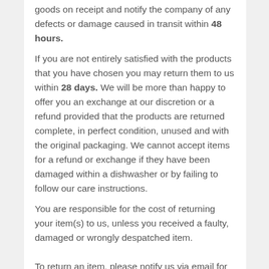goods on receipt and notify the company of any defects or damage caused in transit within 48 hours.
If you are not entirely satisfied with the products that you have chosen you may return them to us within 28 days. We will be more than happy to offer you an exchange at our discretion or a refund provided that the products are returned complete, in perfect condition, unused and with the original packaging. We cannot accept items for a refund or exchange if they have been damaged within a dishwasher or by failing to follow our care instructions.
You are responsible for the cost of returning your item(s) to us, unless you received a faulty, damaged or wrongly despatched item.
To return an item, please notify us via email for